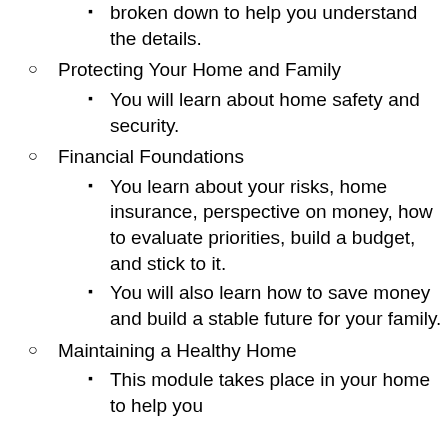broken down to help you understand the details.
Protecting Your Home and Family
You will learn about home safety and security.
Financial Foundations
You learn about your risks, home insurance, perspective on money, how to evaluate priorities, build a budget, and stick to it.
You will also learn how to save money and build a stable future for your family.
Maintaining a Healthy Home
This module takes place in your home to help you